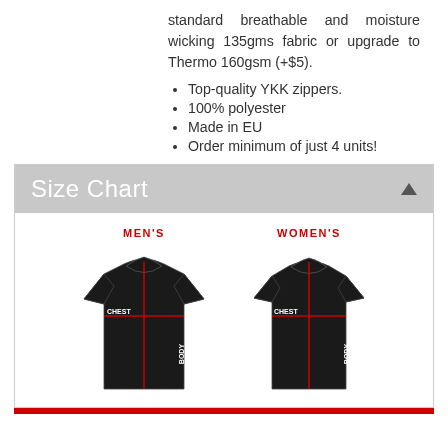standard breathable and moisture wicking 135gms fabric or upgrade to Thermo 160gsm (+$5).
Top-quality YKK zippers.
100% polyester
Made in EU
Order minimum of just 4 units!
Size Chart
[Figure (illustration): Two black cycling jerseys side by side — Men's (left) and Women's (right) — each showing red crosshair lines indicating CHEST (horizontal) and BODY (vertical) measurements. Labels 'MEN'S' and 'WOMEN'S' in red text above each jersey.]